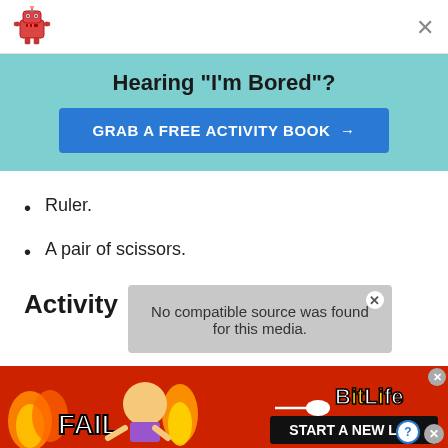[Figure (logo): Robot emoji/icon logo in top left corner]
Hearing "I'm Bored"?
GRAB A FREE ACTIVITY BOOK →
Ruler.
A pair of scissors.
Activity
[Figure (other): Media error overlay: No compatible source was found for this media.]
[Figure (other): BitLife advertisement banner at bottom: FAIL, START A NEW LIFE]